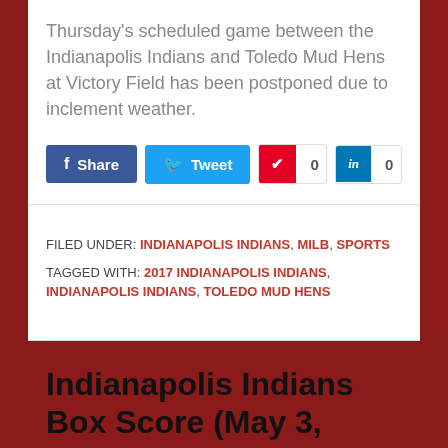Thursday's scheduled game between the Indianapolis Indians and Toledo Mud Hens at Victory Field has been postponed due to inclement weather.
[Figure (other): Social sharing buttons: Facebook Share, Tweet, Pinterest (0), LinkedIn (0)]
FILED UNDER: INDIANAPOLIS INDIANS, MILB, SPORTS
TAGGED WITH: 2017 INDIANAPOLIS INDIANS, INDIANAPOLIS INDIANS, TOLEDO MUD HENS
Indianapolis Indians Box Score (May 3, 2017)